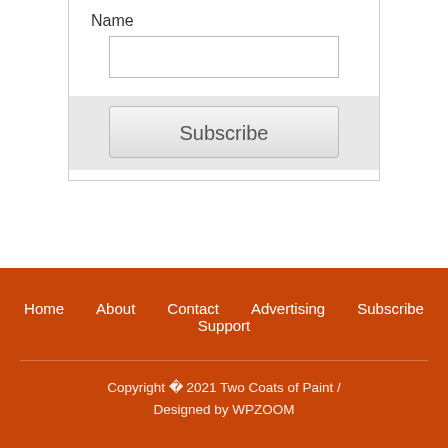Name
[Figure (other): Text input field for Name]
Subscribe
Home   About   Contact   Advertising   Subscribe   Support
Copyright © 2021 Two Coats of Paint / Designed by WPZOOM